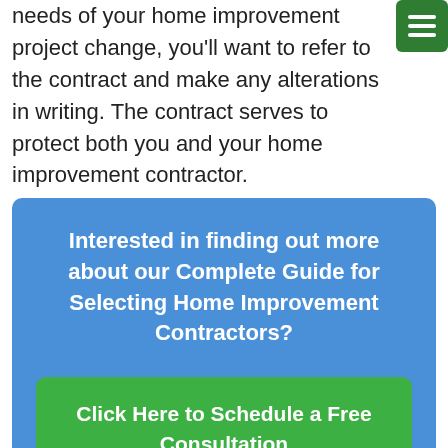needs of your home improvement project change, you'll want to refer to the contract and make any alterations in writing. The contract serves to protect both you and your home improvement contractor.
[Figure (other): Green hamburger menu button with three white horizontal lines]
Interested in finding out more about our Complete Guide for Selecting Home Improvement Contractors?

Click Here to Schedule a Free Consultation